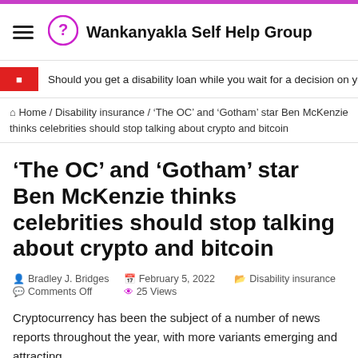Wankanyakla Self Help Group
Should you get a disability loan while you wait for a decision on your benefits?
Home / Disability insurance / 'The OC' and 'Gotham' star Ben McKenzie thinks celebrities should stop talking about crypto and bitcoin
'The OC' and 'Gotham' star Ben McKenzie thinks celebrities should stop talking about crypto and bitcoin
Bradley J. Bridges  February 5, 2022  Disability insurance  Comments Off  25 Views
Cryptocurrency has been the subject of a number of news reports throughout the year, with more variants emerging and attracting